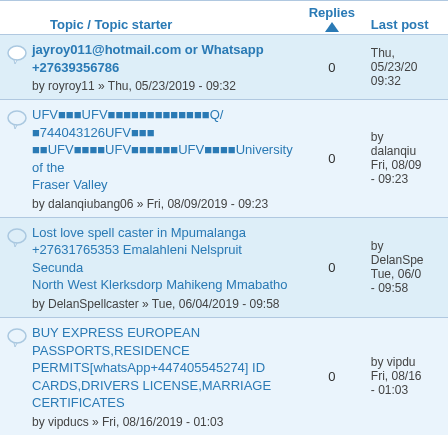| Topic / Topic starter | Replies | Last post |
| --- | --- | --- |
| jayroy011@hotmail.com or Whatsapp +27639356786
by royroy11 » Thu, 05/23/2019 - 09:32 | 0 | Thu, 05/23/20 09:32 |
| UFV…UFV…Q/…744043126UFV…UFV…UFV…UFV…University of the Fraser Valley
by dalanqiubang06 » Fri, 08/09/2019 - 09:23 | 0 | by dalanqiu Fri, 08/09 - 09:23 |
| Lost love spell caster in Mpumalanga +27631765353 Emalahleni Nelspruit Secunda North West Klerksdorp Mahikeng Mmabatho
by DelanSpellcaster » Tue, 06/04/2019 - 09:58 | 0 | by DelanSpe Tue, 06/0 - 09:58 |
| BUY EXPRESS EUROPEAN PASSPORTS,RESIDENCE PERMITS[whatsApp+447405545274] ID CARDS,DRIVERS LICENSE,MARRIAGE CERTIFICATES
by vipducs » Fri, 08/16/2019 - 01:03 | 0 | by vipdu Fri, 08/16 - 01:03 |
Log in to post new content in the forum.